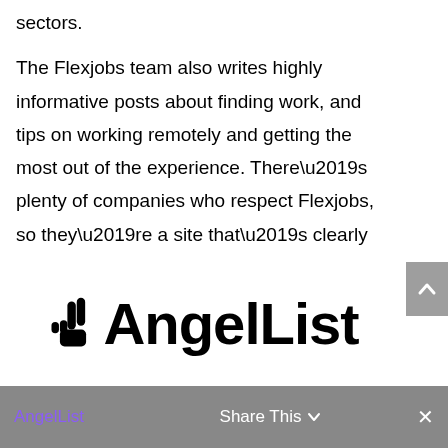sectors.
The Flexjobs team also writes highly informative posts about finding work, and tips on working remotely and getting the most out of the experience. There’s plenty of companies who respect Flexjobs, so they’re a site that’s clearly worth checking out.
[Figure (logo): AngelList logo with peace sign hand emoji and bold text reading AngelList]
AngelList   Share This ∨   ×